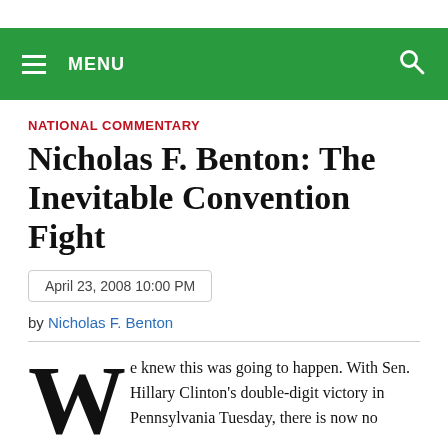MENU
NATIONAL COMMENTARY
Nicholas F. Benton: The Inevitable Convention Fight
April 23, 2008 10:00 PM
by Nicholas F. Benton
We knew this was going to happen. With Sen. Hillary Clinton's double-digit victory in Pennsylvania Tuesday, there is now no